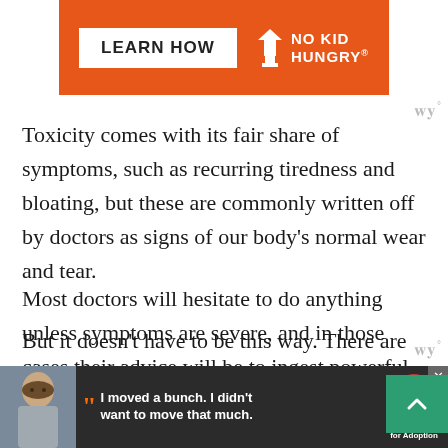[Figure (other): Orange advertisement banner with 'LEARN HOW' button and 'NO KID HUNGRY' logo in white on orange background]
Toxicity comes with its fair share of symptoms, such as recurring tiredness and bloating, but these are commonly written off by doctors as signs of our body's normal wear and tear.
Most doctors will hesitate to do anything unless symptoms are severe, and in those cases their advice will be to ingest powerful drugs that add the toxic residue in your body.
But it doesn't have to be this way. There are viable a...
[Figure (other): Dark advertisement banner at bottom with a boy photo, quote 'I moved a bunch. I didn't want to move that much.' and Dave Thomas Foundation for Adoption logo]